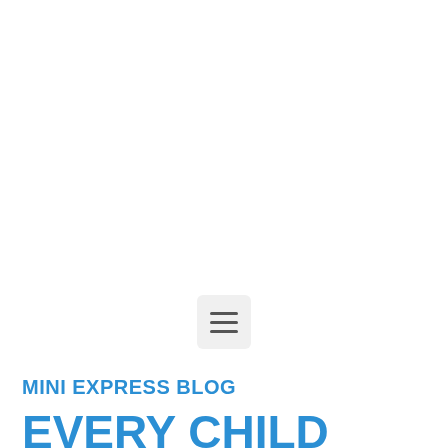[Figure (other): Hamburger menu icon button with three horizontal lines on a light gray rounded rectangle background, centered on the page]
MINI EXPRESS BLOG
EVERY CHILD DREAMS